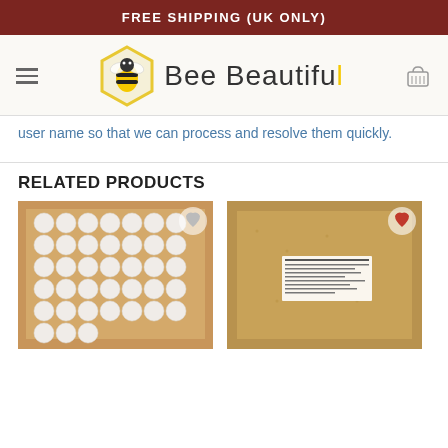FREE SHIPPING (UK ONLY)
[Figure (logo): Bee Beautiful logo with bee icon in hexagon and brand name text]
user name so that we can process and resolve them quickly.
RELATED PRODUCTS
[Figure (photo): Box of white spherical bath bombs arranged in a grid]
[Figure (photo): Cardboard box with a label on it, showing back of product packaging]